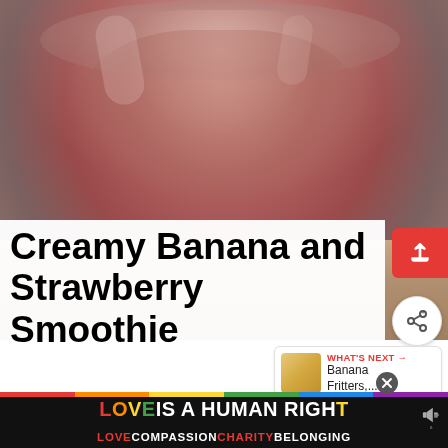[Figure (photo): Close-up photograph of a creamy pink strawberry banana smoothie in a glass, placed on a stone/marble surface. The smoothie fills the glass and has a pinkish-red hue.]
Creamy Banana and Strawberry Smoothie
WHAT'S NEXT → Banana Fritters,...
Creamy Strawberry Banana Smoothie. Quick and Easy to make and taste just like milkshake
LOVE IS A HUMAN RIGHT
LOVE COMPASSION CHARITY BELONGING